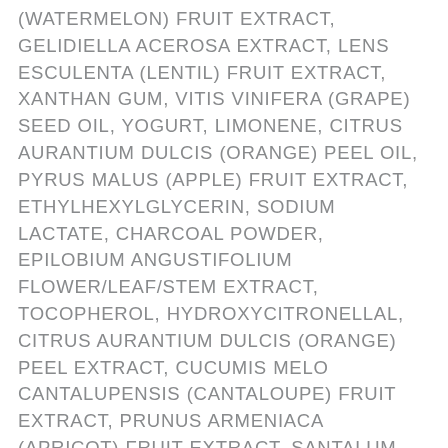(WATERMELON) FRUIT EXTRACT, GELIDIELLA ACEROSA EXTRACT, LENS ESCULENTA (LENTIL) FRUIT EXTRACT, XANTHAN GUM, VITIS VINIFERA (GRAPE) SEED OIL, YOGURT, LIMONENE, CITRUS AURANTIUM DULCIS (ORANGE) PEEL OIL, PYRUS MALUS (APPLE) FRUIT EXTRACT, ETHYLHEXYLGLYCERIN, SODIUM LACTATE, CHARCOAL POWDER, EPILOBIUM ANGUSTIFOLIUM FLOWER/LEAF/STEM EXTRACT, TOCOPHEROL, HYDROXYCITRONELLAL, CITRUS AURANTIUM DULCIS (ORANGE) PEEL EXTRACT, CUCUMIS MELO CANTALUPENSIS (CANTALOUPE) FRUIT EXTRACT, PRUNUS ARMENIACA (APRICOT) FRUIT EXTRACT, SANTALUM ALBUM (SANDALWOOD) EXTRACT, GLUCOSE, SODIUM PCA, SODIUM BENZOATE, COFFEA ARABICA (ARABIAN COFFEE) SEED EXTRACT, LACTIC ACID, POTASSIUM SORBATE, SODIUM HYDROXIDE, CAMELLIA SINENSIS (GREEN TEA) LEAF EXTRACT, ANANAS SATIVUS (PINEAPPLE) FRUIT EXTRACT, BUTTER EXTRACT, CANANGA ODORATA (YLANG YLANG) FLOWER EXTRACT, CITRUS GRANDIS